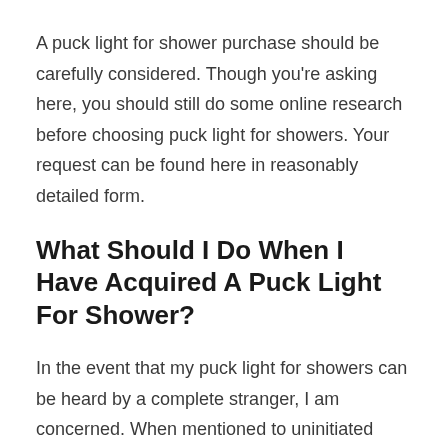A puck light for shower purchase should be carefully considered. Though you're asking here, you should still do some online research before choosing puck light for showers. Your request can be found here in reasonably detailed form.
What Should I Do When I Have Acquired A Puck Light For Shower?
In the event that my puck light for showers can be heard by a complete stranger, I am concerned. When mentioned to uninitiated persons, guns are viewed negatively.